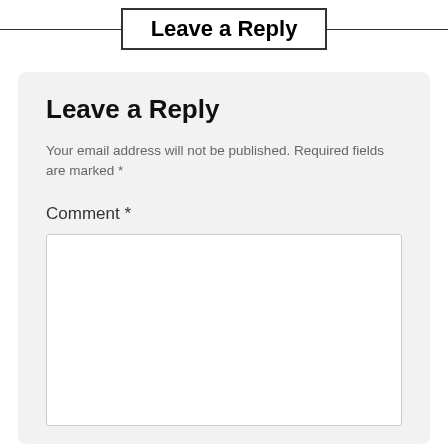Leave a Reply
Leave a Reply
Your email address will not be published. Required fields are marked *
Comment *